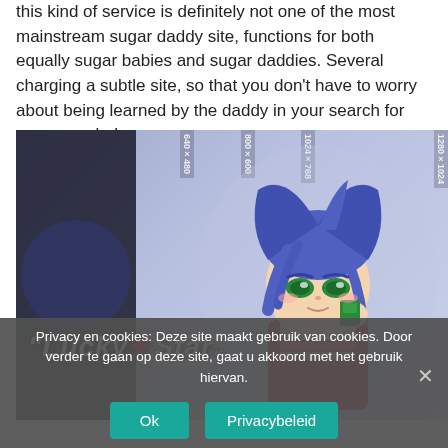this kind of service is definitely not one of the most mainstream sugar daddy site, functions for both equally sugar babies and sugar daddies. Several charging a subtle site, so that you don't have to worry about being learned by the daddy in your search for any sugar baby.
[Figure (illustration): Anime-style illustration of a blue-haired female character from Lucky Star, with resolution size labels (640x480, 800x600, 1024x768, 1280x1024) shown as vertical text along the top. The character holds something near her face and has green eyes. The Lucky Star logo appears in the lower left of the image.]
Privacy en cookies: Deze site maakt gebruik van cookies. Door verder te gaan op deze site, gaat u akkoord met het gebruik hiervan.